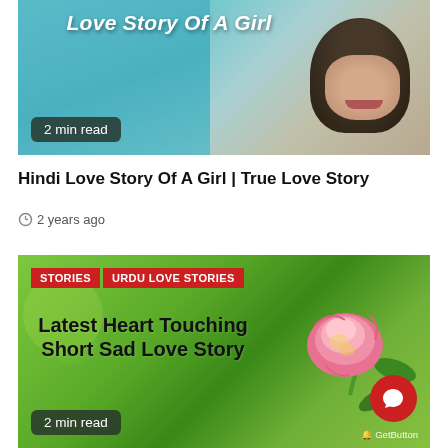[Figure (photo): Teal/blue toned photo of a girl's face and hair, with white overlay text 'Love Story Of A Girl' and a '2 min read' badge at bottom left]
Hindi Love Story Of A Girl | True Love Story
2 years ago
[Figure (photo): Green bokeh background with a pink rose flower in center-right, red tag labels 'STORIES' and 'URDU LOVE STORIES' at top left, bold text 'Latest Heart Touching Short Sad Love Story' overlaid in center, '2 min read' badge at bottom left, GetButton chat widget at bottom right]
2 min read